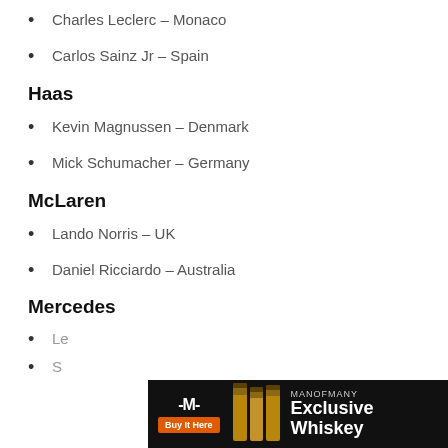Charles Leclerc – Monaco
Carlos Sainz Jr – Spain
Haas
Kevin Magnussen – Denmark
Mick Schumacher – Germany
McLaren
Lando Norris – UK
Daniel Ricciardo – Australia
Mercedes
Le... (partially visible)
S... (partially visible)
[Figure (infographic): ManOfMany Exclusive Whiskey advertisement banner with logo, whiskey bottles, and Buy It Here button]